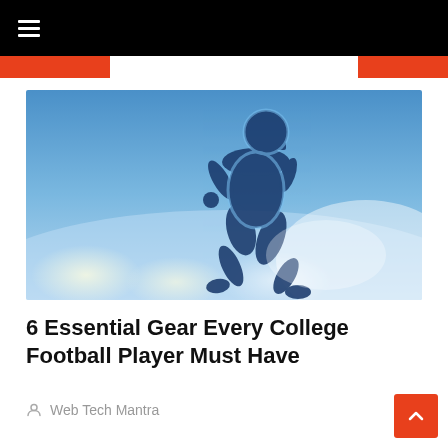≡
[Figure (photo): Silhouette of a college football player in full gear running against a blue sky with stadium lights in the background.]
6 Essential Gear Every College Football Player Must Have
Web Tech Mantra